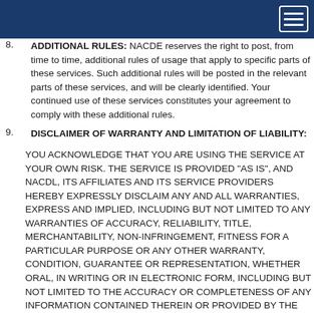8. ADDITIONAL RULES: NACDE reserves the right to post, from time to time, additional rules of usage that apply to specific parts of these services. Such additional rules will be posted in the relevant parts of these services, and will be clearly identified. Your continued use of these services constitutes your agreement to comply with these additional rules.
9. DISCLAIMER OF WARRANTY AND LIMITATION OF LIABILITY: YOU ACKNOWLEDGE THAT YOU ARE USING THE SERVICE AT YOUR OWN RISK. THE SERVICE IS PROVIDED "AS IS", AND NACDL, ITS AFFILIATES AND ITS SERVICE PROVIDERS HEREBY EXPRESSLY DISCLAIM ANY AND ALL WARRANTIES, EXPRESS AND IMPLIED, INCLUDING BUT NOT LIMITED TO ANY WARRANTIES OF ACCURACY, RELIABILITY, TITLE, MERCHANTABILITY, NON-INFRINGEMENT, FITNESS FOR A PARTICULAR PURPOSE OR ANY OTHER WARRANTY, CONDITION, GUARANTEE OR REPRESENTATION, WHETHER ORAL, IN WRITING OR IN ELECTRONIC FORM, INCLUDING BUT NOT LIMITED TO THE ACCURACY OR COMPLETENESS OF ANY INFORMATION CONTAINED THEREIN OR PROVIDED BY THE SERVICE, SERVICE PROVIDER AND ITS AFFILIATES